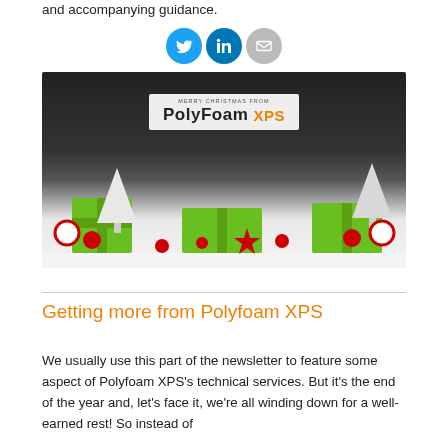and accompanying guidance.
[Figure (infographic): Social media icons: Twitter (blue bird), LinkedIn (blue 'in'), Email (grey envelope circle)]
[Figure (photo): Christmas scene with green gift boxes wrapped in twine, red ornaments, white wooden Christmas trees, candy cane baubles, and a reindeer figure on white snow against a dark background. PolyFoam XPS logo overlay with 'Merry Christmas from' text.]
Getting more from Polyfoam XPS
We usually use this part of the newsletter to feature some aspect of Polyfoam XPS's technical services. But it's the end of the year and, let's face it, we're all winding down for a well-earned rest! So instead of